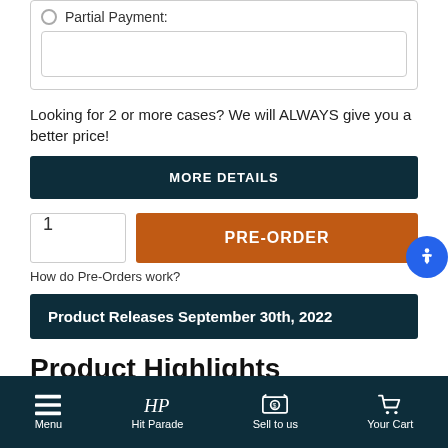Partial Payment:
Looking for 2 or more cases? We will ALWAYS give you a better price!
MORE DETAILS
1
PRE-ORDER
How do Pre-Orders work?
Product Releases September 30th, 2022
Product Highlights
Menu  Hit Parade  Sell to us  Your Cart